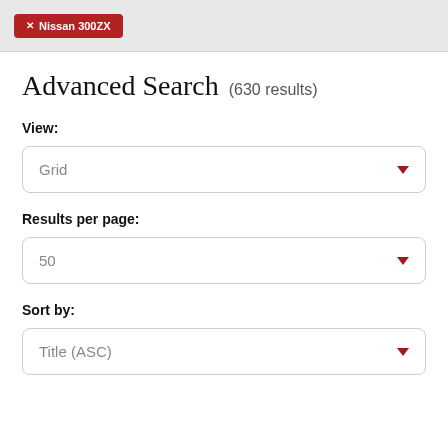Nissan 300ZX
Advanced Search (630 results)
View:
Grid
Results per page:
50
Sort by:
Title (ASC)